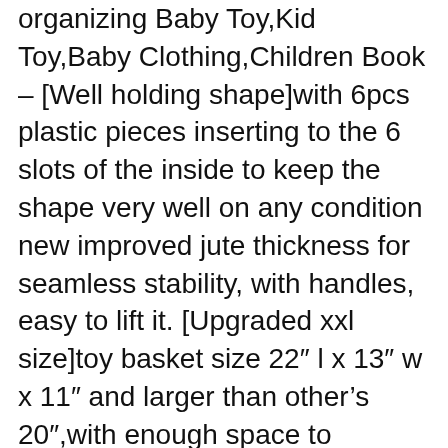organizing Baby Toy,Kid Toy,Baby Clothing,Children Book – [Well holding shape]with 6pcs plastic pieces inserting to the 6 slots of the inside to keep the shape very well on any condition new improved jute thickness for seamless stability, with handles, easy to lift it. [Upgraded xxl size]toy basket size 22″ l x 13″ w x 11″ and larger than other's 20″,with enough space to organizer books, dressers for bedroom, dog toy basket, kids storage cubes, and those many other miscellaneous toys that get scattered meanwhile keeping your living area clean and clutter free. Risk free purchase,100% satisfaction money back guarantee click on the 'add to cart', now. [foldable design and great space saver] canvas toy bins fold to 1″ in height for easy storage, folds down flat when not in use